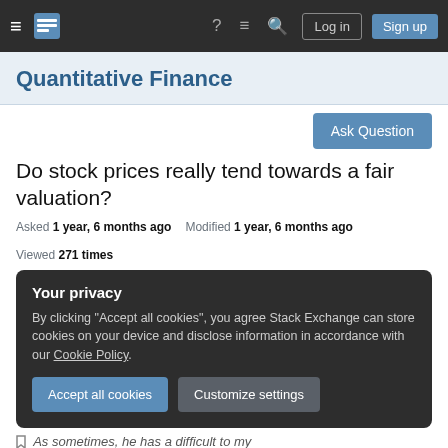Quantitative Finance Stack Exchange — navigation bar with Log in and Sign up buttons
Quantitative Finance
Ask Question
Do stock prices really tend towards a fair valuation?
Asked 1 year, 6 months ago   Modified 1 year, 6 months ago   Viewed 271 times
Your privacy
By clicking "Accept all cookies", you agree Stack Exchange can store cookies on your device and disclose information in accordance with our Cookie Policy.
Accept all cookies   Customize settings
As sometimes, he has a difficult to my understanding of the concept of the present value